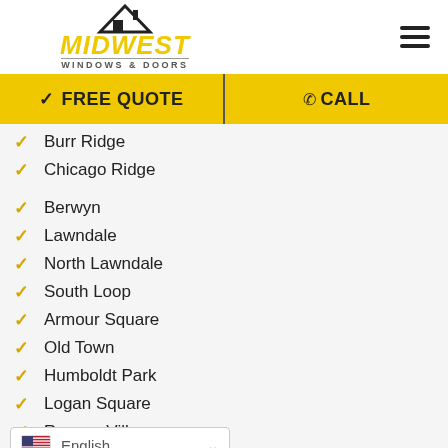[Figure (logo): Midwest Windows & Doors logo with house/roof icon, bold yellow italic MIDWEST text, and WINDOWS & DOORS subtitle]
FREE QUOTE
CALL
Burr Ridge
Chicago Ridge
Berwyn
Lawndale
North Lawndale
South Loop
Armour Square
Old Town
Humboldt Park
Logan Square
Roscoe Village
English